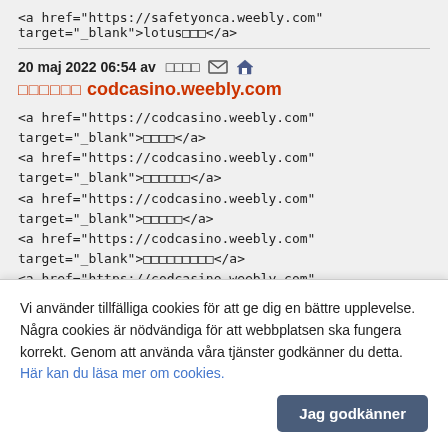<a href="https://safetyonca.weebly.com" target="_blank">lotus□□□</a>
20 maj 2022 06:54 av □□□□ [email] [home]
□□□□□□ codcasino.weebly.com
<a href="https://codcasino.weebly.com" target="_blank">□□□□</a>
<a href="https://codcasino.weebly.com" target="_blank">□□□□□□</a>
<a href="https://codcasino.weebly.com" target="_blank">□□□□□</a>
<a href="https://codcasino.weebly.com" target="_blank">□□□□□□□□□</a>
<a href="https://codcasino.weebly.com" target="_blank">□□□□□□□□□</a>
<a href="https://codcasino.weebly.com" target="_blank">□□□□</a>
20 maj 2022 06:53 av □□□□□ [email] [home]
□□□□□ sites.google.com/view/eventcasite
Vi använder tillfälliga cookies för att ge dig en bättre upplevelse. Några cookies är nödvändiga för att webbplatsen ska fungera korrekt. Genom att använda våra tjänster godkänner du detta. Här kan du läsa mer om cookies.
Jag godkänner